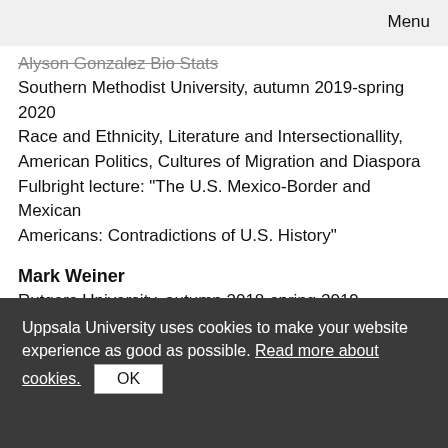Menu
Alyson Gonzalez Bio Stats
Southern Methodist University, autumn 2019-spring 2020
Race and Ethnicity, Literature and Intersectionallity, American Politics, Cultures of Migration and Diaspora
Fulbright lecture: "The U.S. Mexico-Border and Mexican Americans: Contradictions of U.S. History"
Mark Weiner
Rutgers University, autumn 2018-spring 2019
American Politics I (undergraduate), American Politics II (undergraduate)
2019 Fulbright Lecture (video)
Uppsala University uses cookies to make your website experience as good as possible. Read more about cookies.